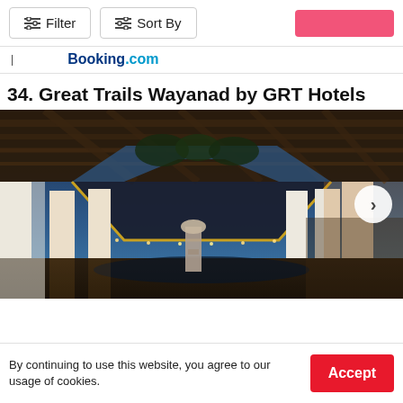Filter | Sort By
[Figure (screenshot): Booking.com logo with a red rectangular button on the right side]
34. Great Trails Wayanad by GRT Hotels
[Figure (photo): Interior lobby photo of Great Trails Wayanad by GRT Hotels — a luxury open-air pavilion with wooden beamed ceilings, white columns, a reflective pool with a stone statue, and a blue twilight sky visible through the open roof. A navigation arrow button is overlaid on the right.]
By continuing to use this website, you agree to our usage of cookies.